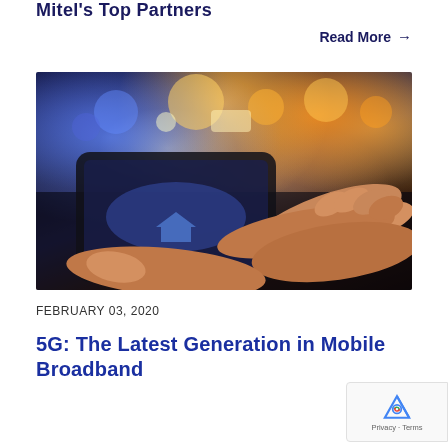Mitel's Top Partners
Read More →
[Figure (photo): Person using a smartphone with bokeh city lights in the background — warm orange and cool blue bokeh lights with hands holding and tapping on a mobile phone screen]
FEBRUARY 03, 2020
5G: The Latest Generation in Mobile Broadband